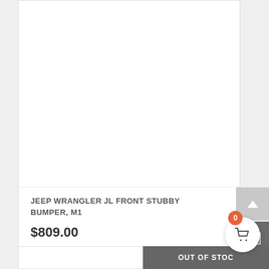[Figure (photo): Product image area (blank/white) for Jeep Wrangler JL Front Stubby Bumper M1]
JEEP WRANGLER JL FRONT STUBBY BUMPER, M1
$809.00
OUT OF STOCK